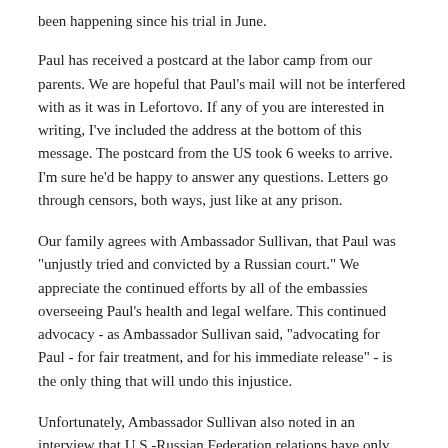been happening since his trial in June.
Paul has received a postcard at the labor camp from our parents. We are hopeful that Paul's mail will not be interfered with as it was in Lefortovo. If any of you are interested in writing, I've included the address at the bottom of this message. The postcard from the US took 6 weeks to arrive. I'm sure he'd be happy to answer any questions. Letters go through censors, both ways, just like at any prison.
Our family agrees with Ambassador Sullivan, that Paul was "unjustly tried and convicted by a Russian court." We appreciate the continued efforts by all of the embassies overseeing Paul's health and legal welfare. This continued advocacy - as Ambassador Sullivan said, "advocating for Paul - for fair treatment, and for his immediate release" - is the only thing that will undo this injustice.
Unfortunately, Ambassador Sullivan also noted in an interview that U.S.-Russian Federation relations have only deteriorated in